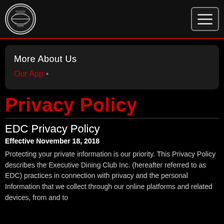EDC logo and navigation hamburger menu
More About Us
Our App •
Privacy Policy
EDC Privacy Policy
Effective November 18, 2018
Protecting your private information is our priority. This Privacy Policy describes the Executive Dining Club Inc. (hereafter referred to as EDC) practices in connection with privacy and the personal Information that we collect through our online platforms and related devices, from and to...